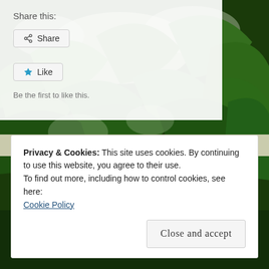Share this:
[Figure (screenshot): Share button with share icon]
[Figure (screenshot): Like button with star icon]
Be the first to like this.
[Figure (photo): Forest/jungle canopy with green leaves and sunlight filtering through trees]
Privacy & Cookies: This site uses cookies. By continuing to use this website, you agree to their use.
To find out more, including how to control cookies, see here:
Cookie Policy
Close and accept